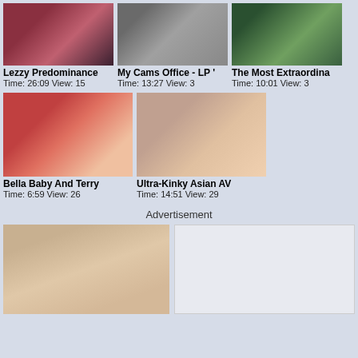[Figure (photo): Video thumbnail 1: Lezzy Predominance]
Lezzy Predominance
Time: 26:09 View: 15
[Figure (photo): Video thumbnail 2: My Cams Office - LP]
My Cams Office - LP
Time: 13:27 View: 3
[Figure (photo): Video thumbnail 3: The Most Extraordina...]
The Most Extraordina
Time: 10:01 View: 3
[Figure (photo): Video thumbnail 4: Bella Baby And Terry]
Bella Baby And Terry
Time: 6:59 View: 26
[Figure (photo): Video thumbnail 5: Ultra-Kinky Asian AV]
Ultra-Kinky Asian AV
Time: 14:51 View: 29
Advertisement
[Figure (photo): Advertisement photo: woman with tattoos]
[Figure (other): Advertisement banner placeholder]